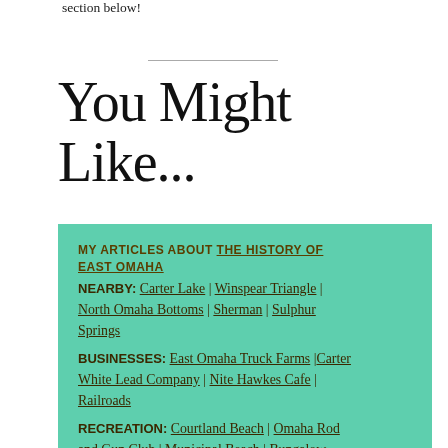section below!
You Might Like...
MY ARTICLES ABOUT THE HISTORY OF EAST OMAHA
NEARBY: Carter Lake | Winspear Triangle | North Omaha Bottoms | Sherman | Sulphur Springs
BUSINESSES: East Omaha Truck Farms | Carter White Lead Company | Nite Hawkes Cafe | Railroads
RECREATION: Courtland Beach | Omaha Rod and Gun Club | Municipal Beach | Bungalow City | Carter Lake Club | Kiddieland and the